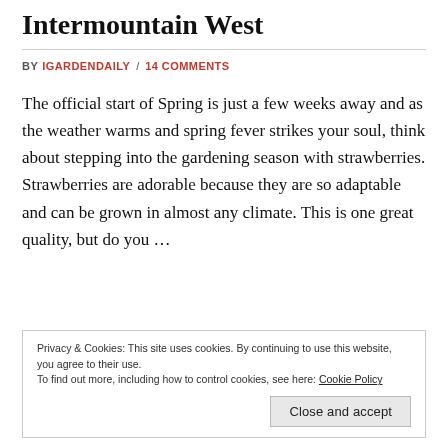Intermountain West
BY IGARDENDAILY / 14 COMMENTS
The official start of Spring is just a few weeks away and as the weather warms and spring fever strikes your soul, think about stepping into the gardening season with strawberries. Strawberries are adorable because they are so adaptable and can be grown in almost any climate. This is one great quality, but do you …
Privacy & Cookies: This site uses cookies. By continuing to use this website, you agree to their use.
To find out more, including how to control cookies, see here: Cookie Policy
Close and accept